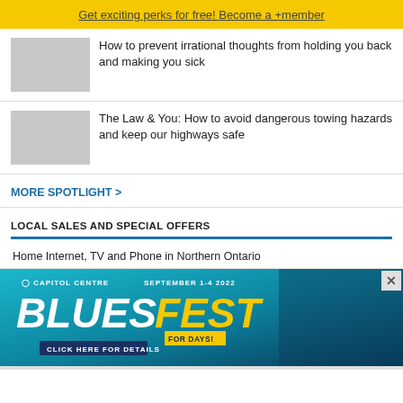Get exciting perks for free! Become a +member
How to prevent irrational thoughts from holding you back and making you sick
The Law & You: How to avoid dangerous towing hazards and keep our highways safe
MORE SPOTLIGHT >
LOCAL SALES AND SPECIAL OFFERS
Home Internet, TV and Phone in Northern Ontario
[Figure (infographic): Capitol Centre Blues Fest advertisement banner. September 1-4 2022. BLUESFEST FOR DAYS! CLICK HERE FOR DETAILS.]